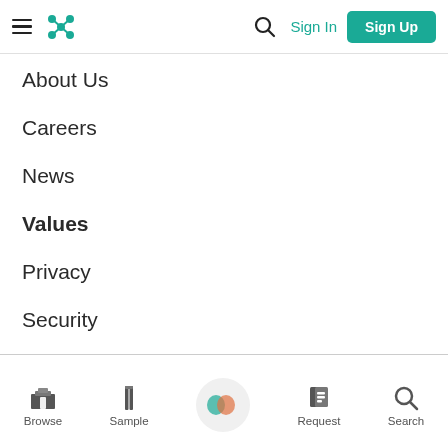Navigation header with hamburger menu, Kompass logo, search icon, Sign In link, and Sign Up button
About Us
Careers
News
Values
Privacy
Security
Browse | Sample | (center icon) | Request | Search